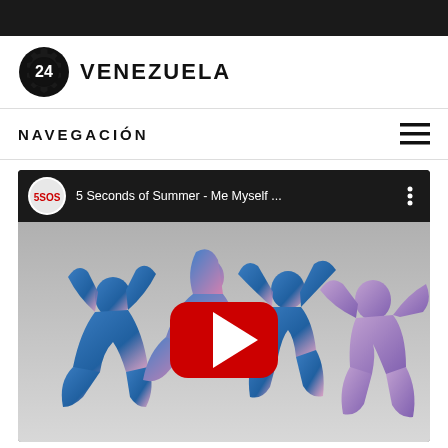[Figure (logo): 24Venezuela logo: gear/cog wheel with '24' inside, followed by text 'VENEZUELA' in bold]
NAVEGACIÓN
[Figure (screenshot): YouTube video embed showing '5 Seconds of Summer - Me Myself ...' with silhouetted dancing figures on a light background and a red YouTube play button in the center]